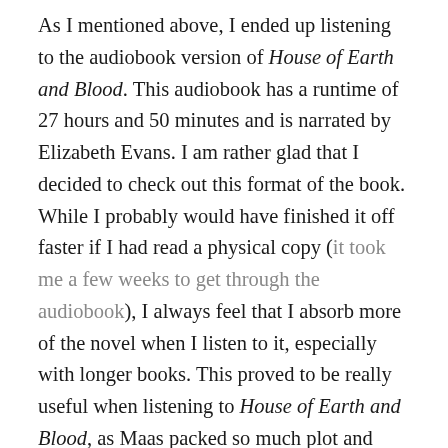As I mentioned above, I ended up listening to the audiobook version of House of Earth and Blood. This audiobook has a runtime of 27 hours and 50 minutes and is narrated by Elizabeth Evans. I am rather glad that I decided to check out this format of the book. While I probably would have finished it off faster if I had read a physical copy (it took me a few weeks to get through the audiobook), I always feel that I absorb more of the novel when I listen to it, especially with longer books. This proved to be really useful when listening to House of Earth and Blood, as Maas packed so much plot and world building into this immense novel, and I think I ended up getting more out of this book by utilising this format. I have to say that I was also immensely impressed with Elizabeth Evans's narration. Evans did